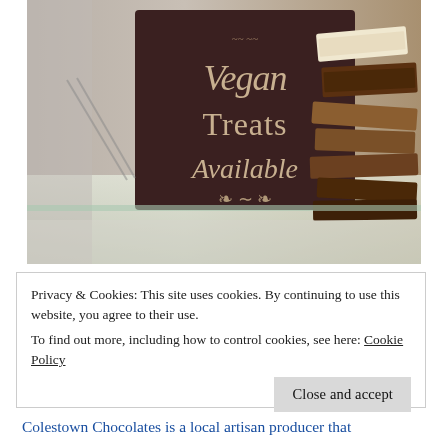[Figure (photo): A chocolate shop display case showing a dark sign reading 'Vegan Treats Available' with decorative script and scrollwork, alongside various chocolate bars and confections in the background. The image has a warm, slightly vintage tone.]
Privacy & Cookies: This site uses cookies. By continuing to use this website, you agree to their use.
To find out more, including how to control cookies, see here: Cookie Policy
Close and accept
Colestown Chocolates is a local artisan producer that